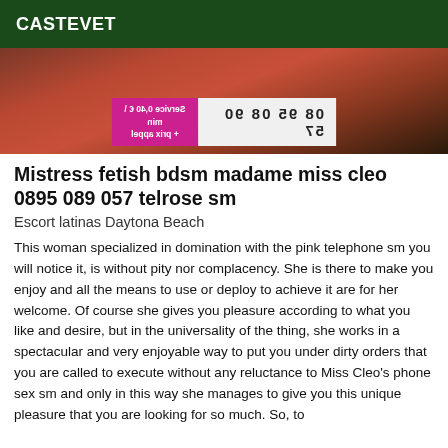CASTEVET
[Figure (photo): Photo of a woman in red with a mirrored phone number banner showing: Service 0,40 € \ min + prix appel and 08 95 08 90 57]
Mistress fetish bdsm madame miss cleo 0895 089 057 telrose sm
Escort latinas Daytona Beach
This woman specialized in domination with the pink telephone sm you will notice it, is without pity nor complacency. She is there to make you enjoy and all the means to use or deploy to achieve it are for her welcome. Of course she gives you pleasure according to what you like and desire, but in the universality of the thing, she works in a spectacular and very enjoyable way to put you under dirty orders that you are called to execute without any reluctance to Miss Cleo's phone sex sm and only in this way she manages to give you this unique pleasure that you are looking for so much. So, to